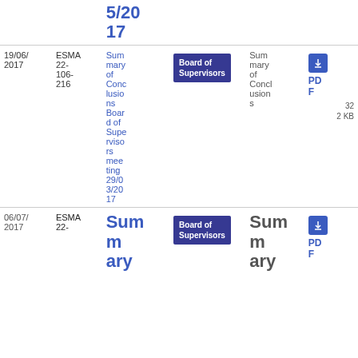| Date | Reference | Title | Type | Description | File |
| --- | --- | --- | --- | --- | --- |
|  |  | 5/2017 | Board of Supervisors | Summary of Conclusions | PDF
32 2 KB |
| 19/06/2017 | ESMA 22-106-216 | Summary of Conclusions Board of Supervisors meeting 29/03/2017 | Board of Supervisors | Summary of Conclusions | PDF
32 2 KB |
| 06/07/2017 | ESMA 22- | Summ ary | Board of Supervisors | Summ ary | PDF |